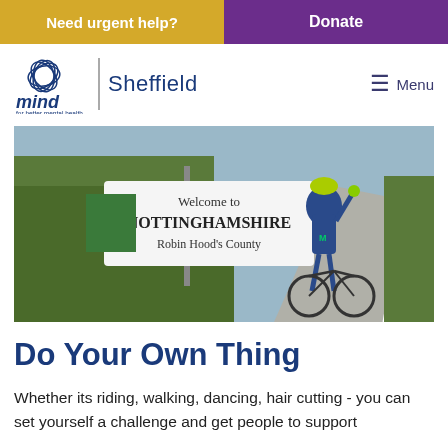Need urgent help? | Donate
[Figure (logo): Mind Sheffield logo - 'mind for better mental health | Sheffield' with decorative flower/butterfly graphic in blue]
[Figure (photo): A cyclist in blue Movistar jersey and yellow helmet standing next to a 'Welcome to Nottinghamshire Robin Hood's County' road sign, with a bicycle and rural road in background]
Do Your Own Thing
Whether its riding, walking, dancing, hair cutting - you can set yourself a challenge and get people to support